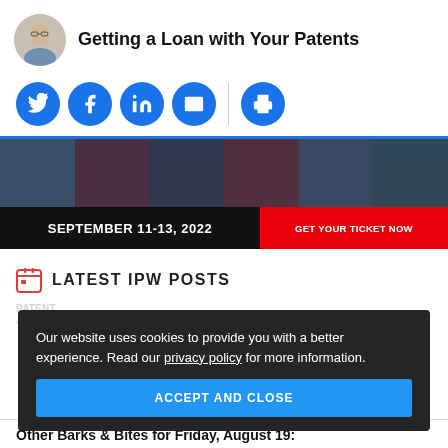Getting a Loan with Your Patents
[Figure (photo): Circular avatar photo of a man with glasses]
[Figure (infographic): Social media share icons: Twitter, Facebook, LinkedIn, Email, Print on blue circles]
[Figure (photo): Conference banner showing six professionals' headshots above black bar reading SEPTEMBER 11-13, 2022 with red GET YOUR TICKET NOW button]
LATEST IPW POSTS
Our website uses cookies to provide you with a better experience. Read our privacy policy for more information.
ACCEPT AND CLOSE
Other Barks & Bites for Friday, August 19: